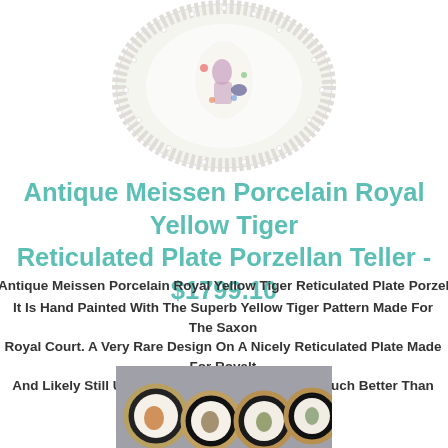[Figure (photo): Antique Meissen porcelain reticulated plate with floral and figure decoration, seen from above, with lace-like pierced border]
Antique Meissen Porcelain Royal Yellow Tiger Reticulated Plate Porzellan Teller - $1799.10
Antique Meissen Porcelain Royal Yellow Tiger Reticulated Plate Porzellan Tell...
It Is Hand Painted With The Superb Yellow Tiger Pattern Made For The Saxon Royal Court. A Very Rare Design On A Nicely Reticulated Plate Made For Royalty And Likely Still Used By Them - It Does Not Get Much Better Than This!
[Figure (photo): Collection of small decorative porcelain plates with gold rims, showing various animal scenes]